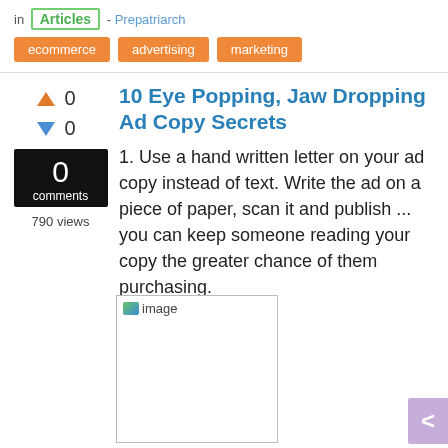in Articles - Prepatriarch
ecommerce  advertising  marketing
10 Eye Popping, Jaw Dropping Ad Copy Secrets
0 comments, 790 views
1. Use a hand written letter on your ad copy instead of text. Write the ad on a piece of paper, scan it and publish ... you can keep someone reading your copy the greater chance of them purchasing.
[Figure (photo): Broken image placeholder labeled 'image']